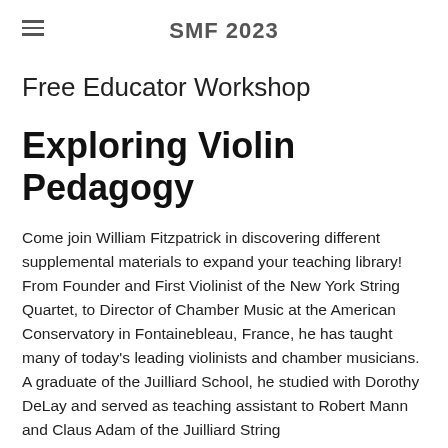SMF 2023
Free Educator Workshop
Exploring Violin Pedagogy
Come join William Fitzpatrick in discovering different supplemental materials to expand your teaching library! From Founder and First Violinist of the New York String Quartet, to Director of Chamber Music at the American Conservatory in Fontainebleau, France, he has taught many of today's leading violinists and chamber musicians. A graduate of the Juilliard School, he studied with Dorothy DeLay and served as teaching assistant to Robert Mann and Claus Adam of the Juilliard String